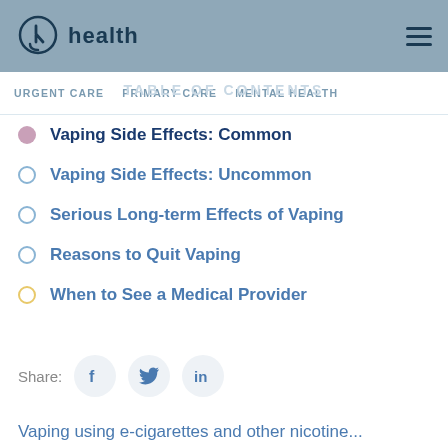k health
URGENT CARE   PRIMARY CARE   MENTAL HEALTH
TABLE OF CONTENTS
Vaping Side Effects: Common
Vaping Side Effects: Uncommon
Serious Long-term Effects of Vaping
Reasons to Quit Vaping
When to See a Medical Provider
Share:
Vaping using e-cigarettes and other nicotine...